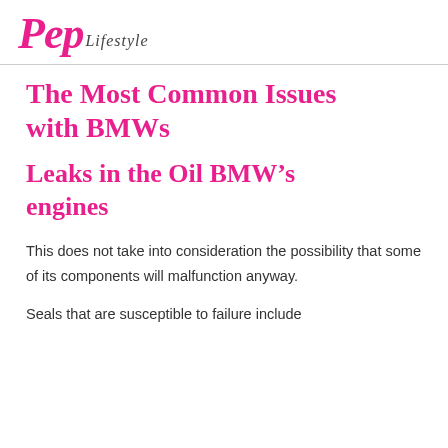Pep Lifestyle
The Most Common Issues with BMWs
Leaks in the Oil BMW's engines
This does not take into consideration the possibility that some of its components will malfunction anyway.
Seals that are susceptible to failure include